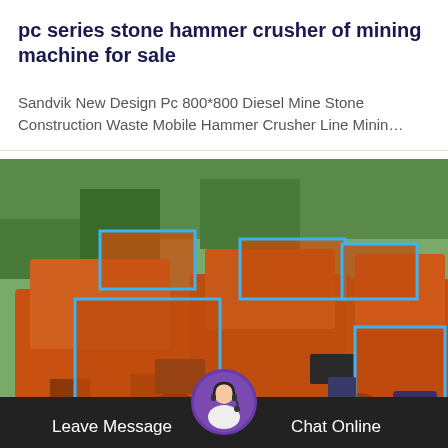pc series stone hammer crusher of mining machine for sale
Sandvik New Design Pc 800*800 Diesel Mine Stone Construction Waste Mobile Hammer Crusher Line Minin…
[Figure (photo): Multiple orange PC series stone hammer crushers lined up, with blue rectangle outlines highlighting key components. Industrial mining machinery shown in an outdoor setting with green plants in background.]
Leave Message   Chat Online